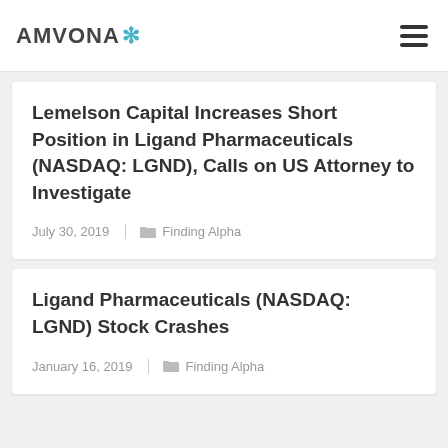AMVONA
Lemelson Capital Increases Short Position in Ligand Pharmaceuticals (NASDAQ: LGND), Calls on US Attorney to Investigate
July 30, 2019 | Finding Alpha
Ligand Pharmaceuticals (NASDAQ: LGND) Stock Crashes
January 16, 2019 | Finding Alpha